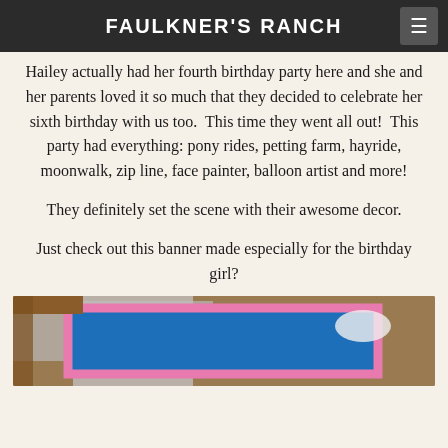FAULKNER'S RANCH
Hailey actually had her fourth birthday party here and she and her parents loved it so much that they decided to celebrate her sixth birthday with us too.  This time they went all out!  This party had everything: pony rides, petting farm, hayride, moonwalk, zip line, face painter, balloon artist and more!
They definitely set the scene with their awesome decor.
Just check out this banner made especially for the birthday girl?
[Figure (photo): A photo of a banner with a pink glittery border on a blue background, viewed from below at an angle, with wooden beams visible above.]